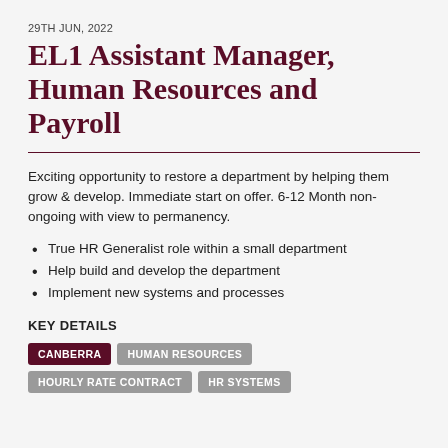29TH JUN, 2022
EL1 Assistant Manager, Human Resources and Payroll
Exciting opportunity to restore a department by helping them grow & develop. Immediate start on offer. 6-12 Month non-ongoing with view to permanency.
True HR Generalist role within a small department
Help build and develop the department
Implement new systems and processes
KEY DETAILS
CANBERRA | HUMAN RESOURCES | HOURLY RATE CONTRACT | HR SYSTEMS